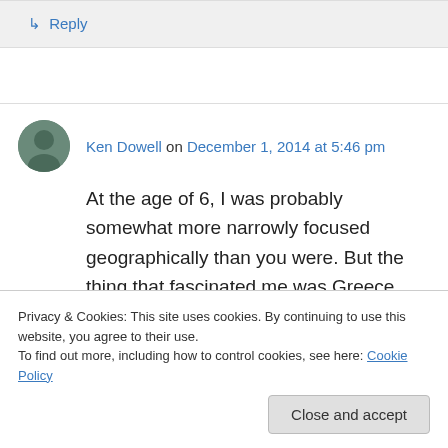↳ Reply
Ken Dowell on December 1, 2014 at 5:46 pm
At the age of 6, I was probably somewhat more narrowly focused geographically than you were. But the thing that fascinated me was Greece and Rome. I was curious about the layers of reality...
Privacy & Cookies: This site uses cookies. By continuing to use this website, you agree to their use.
To find out more, including how to control cookies, see here: Cookie Policy
Close and accept